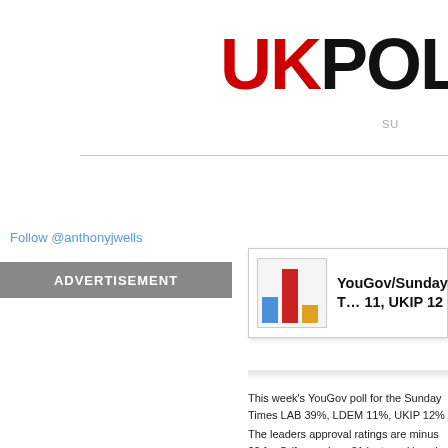UKPOLL
SU
Follow @anthonyjwells
ADVERTISEMENT
YouGov/Sunday Times 11, UKIP 12
This week's YouGov poll for the Sunday Times LAB 39%, LDEM 11%, UKIP 12%
The leaders approval ratings are minus 20 for C (from minus 31 last week) and minus 51 for Cle optimism continues to creep upwards – the fee